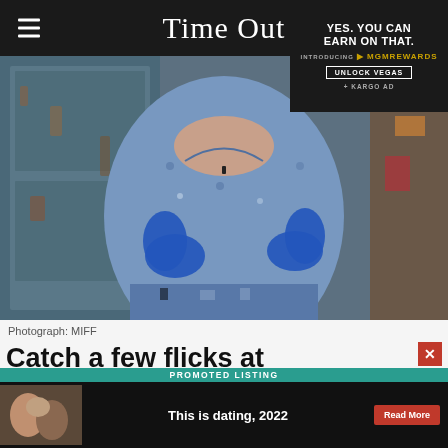Time Out
[Figure (photo): Woman in blue floral dress wearing blue rubber gloves, standing in front of a weathered blue wooden door, photographed from neck to waist]
Photograph: MIFF
Catch a few flicks at Melbourne International Film Festival
[Figure (infographic): Promoted listing ad banner: 'This is dating, 2022' with Read More button and couple photo thumbnail]